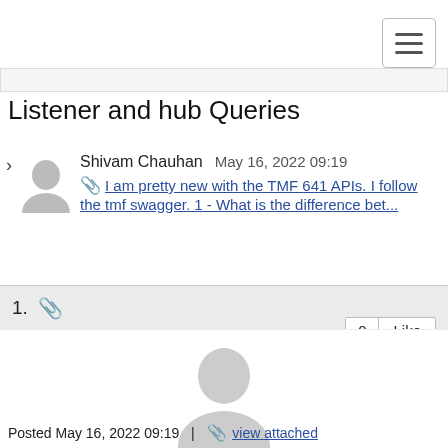[Figure (screenshot): Navigation bar with hamburger menu icon (three horizontal lines) in top right corner]
Listener and hub Queries
Shivam Chauhan  May 16, 2022 09:19
📎 I am pretty new with the TMF 641 APIs. I follow the tmf swagger. 1 - What is the difference bet...
1. 📎
0  Like
[Figure (photo): Large generic user avatar silhouette placeholder image]
Shivam Chauhan
Posted May 16, 2022 09:19  |  📎 view attached